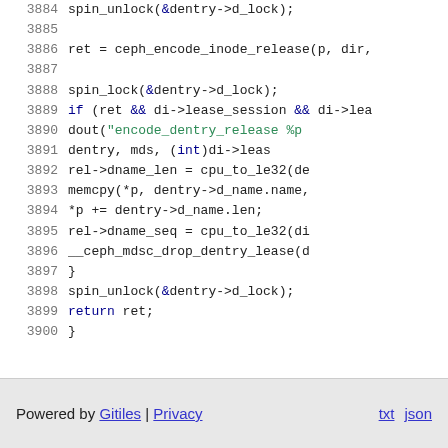3884    spin_unlock(&dentry->d_lock);
3885
3886    ret = ceph_encode_inode_release(p, dir,
3887
3888    spin_lock(&dentry->d_lock);
3889    if (ret && di->lease_session && di->lea
3890        dout("encode_dentry_release %p
3891            dentry, mds, (int)di->leas
3892        rel->dname_len = cpu_to_le32(de
3893        memcpy(*p, dentry->d_name.name,
3894        *p += dentry->d_name.len;
3895        rel->dname_seq = cpu_to_le32(di
3896        __ceph_mdsc_drop_dentry_lease(d
3897    }
3898    spin_unlock(&dentry->d_lock);
3899    return ret;
3900 }
Powered by Gitiles | Privacy    txt  json